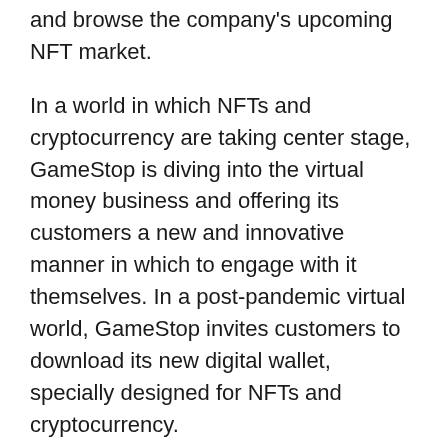and browse the company's upcoming NFT market.
In a world in which NFTs and cryptocurrency are taking center stage, GameStop is diving into the virtual money business and offering its customers a new and innovative manner in which to engage with it themselves. In a post-pandemic virtual world, GameStop invites customers to download its new digital wallet, specially designed for NFTs and cryptocurrency.
Hoping to push into the world of NFTs and open a marketplace for them by the end of July, GameStop is creating a browser extension wallet for customers to be able to freely buy, sell, and trade cryptocurrency right from their web browser. This move puts the company in the spotlight, assuring its place in the conversation